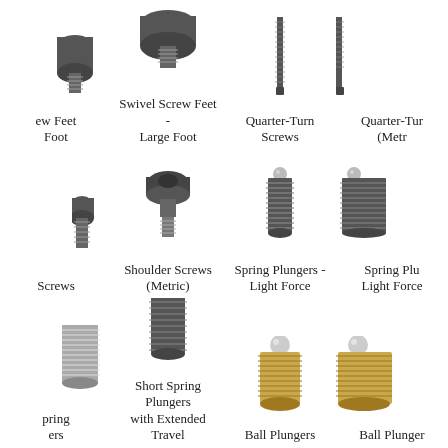[Figure (illustration): Swivel screw foot with small foot, partial view (left edge cut off)]
ew Feet
Foot
[Figure (illustration): Swivel screw feet - large foot, dark cylindrical cap on threaded post]
Swivel Screw Feet -
Large Foot
[Figure (illustration): Quarter-Turn Screw, tall threaded rod with dark tip]
Quarter-Turn Screws
[Figure (illustration): Quarter-Turn Screw metric version, partial view (right edge cut off)]
Quarter-Tur
(Metr
[Figure (illustration): Partial view of a screw, left edge cut off]
Screws
[Figure (illustration): Shoulder screw metric, black with hex socket head and short threaded shank]
Shoulder Screws
(Metric)
[Figure (illustration): Spring plunger light force, dark threaded cylinder with small steel ball tip]
Spring Plungers -
Light Force
[Figure (illustration): Spring plunger light force variant, partial right edge cut off]
Spring Plu
Light Force
[Figure (illustration): Partial left view of a spring plunger]
pring
ers
[Figure (illustration): Short spring plunger with extended travel, dark threaded body with steel ball]
Short Spring Plungers
with Extended Travel
[Figure (illustration): Ball plunger, gold/brass colored threaded body with steel ball tip]
Ball Plungers
[Figure (illustration): Ball plunger variant, gold colored, partial right edge view]
Ball Plunger